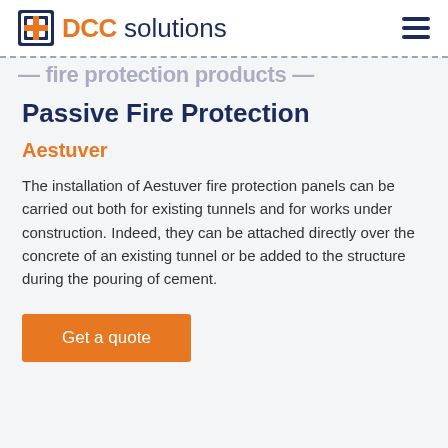DCC solutions
— fire protection products —
Passive Fire Protection
Aestuver
The installation of Aestuver fire protection panels can be carried out both for existing tunnels and for works under construction. Indeed, they can be attached directly over the concrete of an existing tunnel or be added to the structure during the pouring of cement.
Get a quote